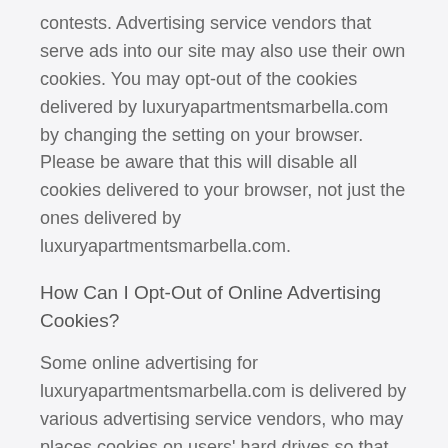contests. Advertising service vendors that serve ads into our site may also use their own cookies. You may opt-out of the cookies delivered by luxuryapartmentsmarbella.com by changing the setting on your browser. Please be aware that this will disable all cookies delivered to your browser, not just the ones delivered by luxuryapartmentsmarbella.com.
How Can I Opt-Out of Online Advertising Cookies?
Some online advertising for luxuryapartmentsmarbella.com is delivered by various advertising service vendors, who may places cookies on users' hard drives so that their systems can identify your computer. By placing such cookies on your system, they are able, among other things, to determine automatically whether you have seen and/or clicked on a particular advertisement. If you do